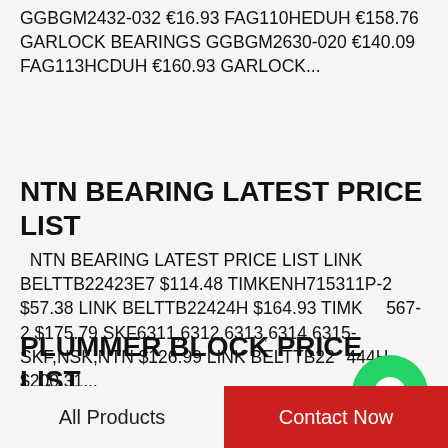GGBGM2432-032 €16.93 FAG110HEDUH €158.76 GARLOCK BEARINGS GGBGM2630-020 €140.09 FAG113HCDUH €160.93 GARLOCK...
NTN BEARING LATEST PRICE LIST
NTN BEARING LATEST PRICE LIST LINK BELTTB22423E7 $114.48 TIMKENH715311P-2 $57.38 LINK BELTTB22424H $164.93 TIMK 567-2 $175.79 SKF6311,6312,6313,6314,6315-SKF,NSK,NTN $126.99 LINK BELTTB22444H $200.31...
[Figure (logo): WhatsApp Online green circular logo with text 'WhatsApp Online']
PLUMMER BLOCK PRICE LIST
PLUMMER BLOCK PRICE LIST SKF7028CD/P4ATBTA €132.62 SKF7028CDGB/P4A €122.95 SKF71928ACD/P4DGA €36.65...
All Products    Contact Now